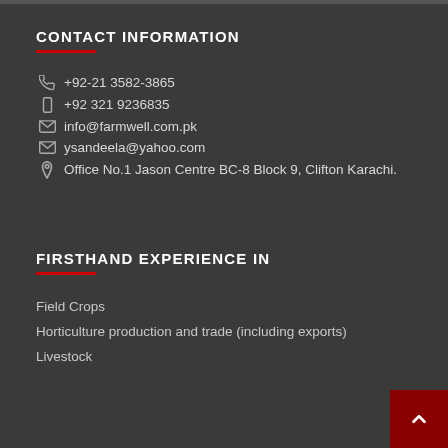CONTACT INFORMATION
📞 +92-21 3582-3865
📱 +92 321 9236835
✉ info@farmwell.com.pk
✉ ysandeela@yahoo.com
📍 Office No.1 Jason Centre BC-8 Block 9, Clifton Karachi.
FIRSTHAND EXPERIENCE IN
Field Crops
Horticulture production and trade (including exports)
Livestock